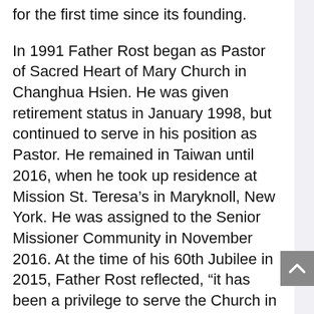for the first time since its founding.
In 1991 Father Rost began as Pastor of Sacred Heart of Mary Church in Changhua Hsien. He was given retirement status in January 1998, but continued to serve in his position as Pastor. He remained in Taiwan until 2016, when he took up residence at Mission St. Teresa’s in Maryknoll, New York. He was assigned to the Senior Missioner Community in November 2016. At the time of his 60th Jubilee in 2015, Father Rost reflected, “it has been a privilege to serve the Church in Taiwan as a Maryknoll missioner. Praise and thanks to God.”
A Rosary and wake service was held at 4:00 p.m. on November 15, 2017 at Mission St. Teresa’s. The Rite of Reception took place at the Maryknoll Society Center at 9:30 a.m. on November 16, 2017. Father Rost’s family received condolences and